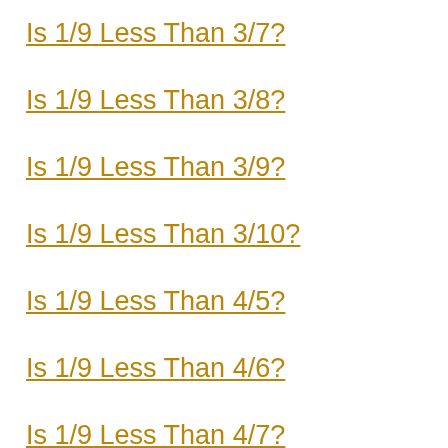Is 1/9 Less Than 3/7?
Is 1/9 Less Than 3/8?
Is 1/9 Less Than 3/9?
Is 1/9 Less Than 3/10?
Is 1/9 Less Than 4/5?
Is 1/9 Less Than 4/6?
Is 1/9 Less Than 4/7?
Is 1/9 Less Than 4/8?